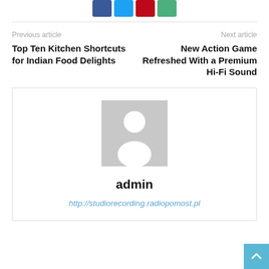[Figure (other): Social share buttons: Facebook (blue), Twitter (light blue), Pinterest (red), WhatsApp (green)]
Previous article
Top Ten Kitchen Shortcuts for Indian Food Delights
Next article
New Action Game Refreshed With a Premium Hi-Fi Sound
[Figure (photo): Default user avatar placeholder: grey square with white silhouette of a person]
admin
http://studiorecording.radiopomost.pl